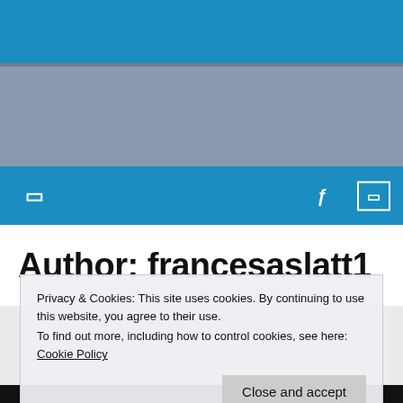[Figure (screenshot): Top blue navigation bar with a website header]
[Figure (photo): Bluish-gray blurred header image area]
Author: francesaslatt1
Privacy & Cookies: This site uses cookies. By continuing to use this website, you agree to their use.
To find out more, including how to control cookies, see here: Cookie Policy
[Figure (photo): Partial photo of a young woman at the bottom of the page]